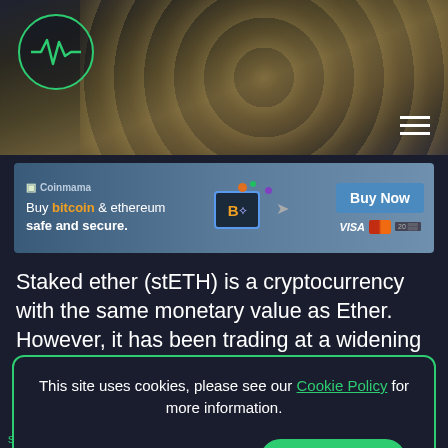[Figure (photo): Header image showing cryptocurrency coins on a dark surface, with a green heartbeat/pulse logo in the top left and a hamburger menu icon in the top right]
[Figure (infographic): Coinmama advertisement banner: 'Buy bitcoin & ethereum safe and secure.' with Buy Now button and payment icons (VISA, Mastercard)]
Staked ether (stETH) is a cryptocurrency with the same monetary value as Ether. However, it has been trading at a widening discount to the second-largest cryptocurrency in recent weeks, stoking the fires of a liquidity crisis in the crypto market.
This site uses cookies, please see our Cookie Policy for more information. DISABLE | ENABLE
stETH dipped as low as 0.972 ETH, representing an 0%